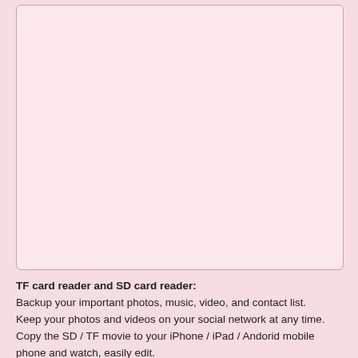[Figure (other): Large blank pinkish image placeholder box with rounded corners and light border]
TF card reader and SD card reader: Backup your important photos, music, video, and contact list. Keep your photos and videos on your social network at any time. Copy the SD / TF movie to your iPhone / iPad / Andorid mobile phone and watch, easily edit.